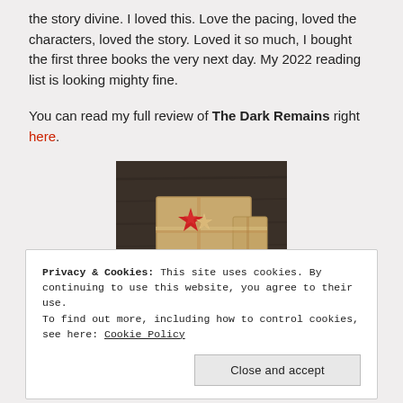the story divine. I loved this. Love the pacing, loved the characters, loved the story. Loved it so much, I bought the first three books the very next day. My 2022 reading list is looking mighty fine.
You can read my full review of The Dark Remains right here.
[Figure (photo): A wrapped gift box in brown kraft paper tied with twine and decorated with a red star ornament, on a dark wooden surface.]
Privacy & Cookies: This site uses cookies. By continuing to use this website, you agree to their use. To find out more, including how to control cookies, see here: Cookie Policy
Close and accept